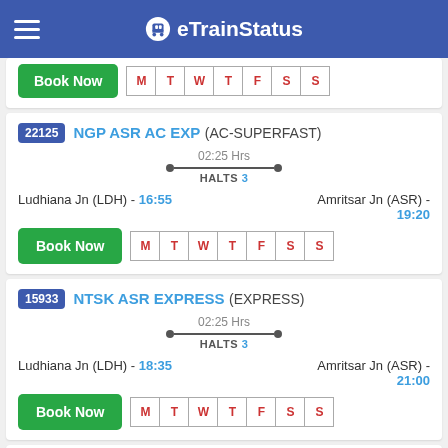eTrainStatus
22125 NGP ASR AC EXP (AC-SUPERFAST) — 02:25 Hrs, HALTS 3 — Ludhiana Jn (LDH) - 16:55 | Amritsar Jn (ASR) - 19:20
15933 NTSK ASR EXPRESS (EXPRESS) — 02:25 Hrs, HALTS 3 — Ludhiana Jn (LDH) - 18:35 | Amritsar Jn (ASR) - 21:00
19325 IND AMRITSAR EX (EXPRESS) — 02:25 Hrs, HALTS 3